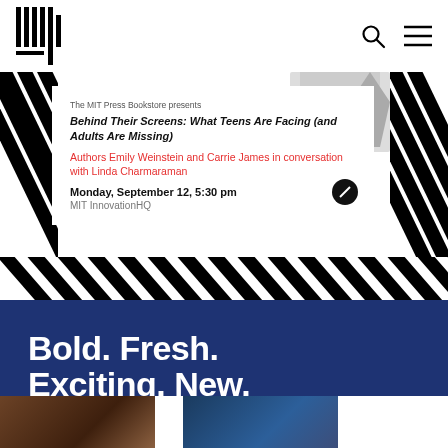[Figure (logo): MIT Press vertical bar logo]
[Figure (screenshot): MIT Press Bookstore event card with diagonal black and white stripe background. The card shows an event for 'Behind Their Screens: What Teens Are Facing (and Adults Are Missing)' with authors Emily Weinstein and Carrie James in conversation with Linda Charmaraman, on Monday September 12 5:30pm at MIT InnovationHQ]
The MIT Press Bookstore presents
Behind Their Screens: What Teens Are Facing (and Adults Are Missing)
Authors Emily Weinstein and Carrie James in conversation with Linda Charmaraman
Monday, September 12, 5:30 pm
MIT InnovationHQ
[Figure (infographic): Blue promotional banner with bold white text reading 'Bold. Fresh. Exciting. New.' and subtitle 'On sale this week from the MIT Press']
Bold. Fresh. Exciting. New.
On sale this week from the MIT Press